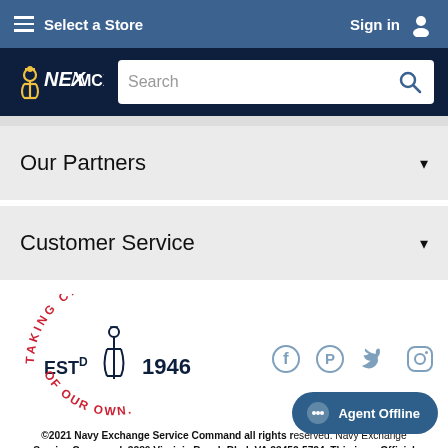Select a Store | Sign in
[Figure (logo): NEX / MCX logo with anchor icon on dark navy background, with search bar]
Our Partners ▾
Customer Service ▾
[Figure (logo): NEX circular logo: Taking Care of Our Own, ESTd 1946, anchor, with social media icons (Facebook, Pinterest, Twitter, Instagram)]
©2021 Navy Exchange Service Command all rights reserved. Navy Exchange Service Command, 3280 Virginia Beach Blvd, VA 23452-5724. This is an Official
Agent Offline